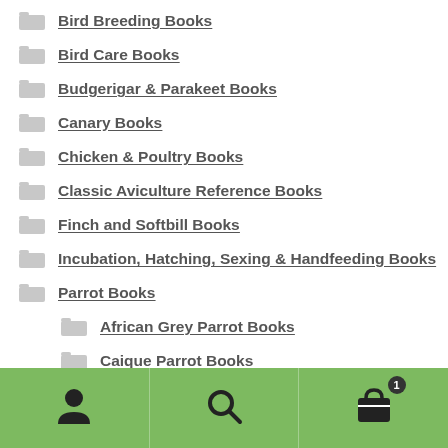Bird Breeding Books
Bird Care Books
Budgerigar & Parakeet Books
Canary Books
Chicken & Poultry Books
Classic Aviculture Reference Books
Finch and Softbill Books
Incubation, Hatching, Sexing & Handfeeding Books
Parrot Books
African Grey Parrot Books
Caique Parrot Books
Cockatiel Books